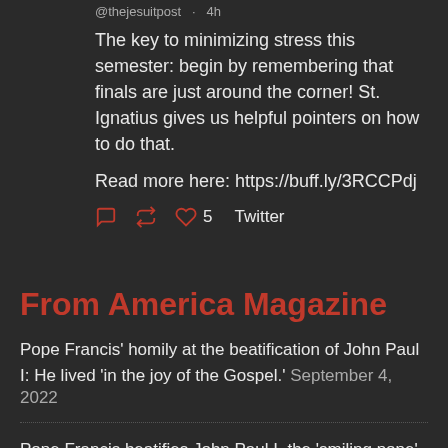@thejesuitpost · 4h
The key to minimizing stress this semester: begin by remembering that finals are just around the corner! St. Ignatius gives us helpful pointers on how to do that.
Read more here: https://buff.ly/3RCCPdj
♡ 5  Twitter
From America Magazine
Pope Francis' homily at the beatification of John Paul I: He lived 'in the joy of the Gospel.' September 4, 2022
Pope Francis beatifies John Paul I, the 'smiling pope' who governed the church for 33 days in 1978